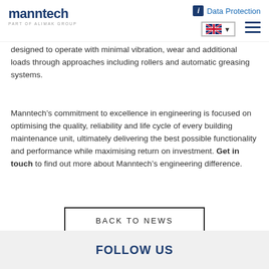manntech | PART OF ALIMAK GROUP | Data Protection
designed to operate with minimal vibration, wear and additional loads through approaches including rollers and automatic greasing systems.
Manntech’s commitment to excellence in engineering is focused on optimising the quality, reliability and life cycle of every building maintenance unit, ultimately delivering the best possible functionality and performance while maximising return on investment. Get in touch to find out more about Manntech’s engineering difference.
BACK TO NEWS
FOLLOW US